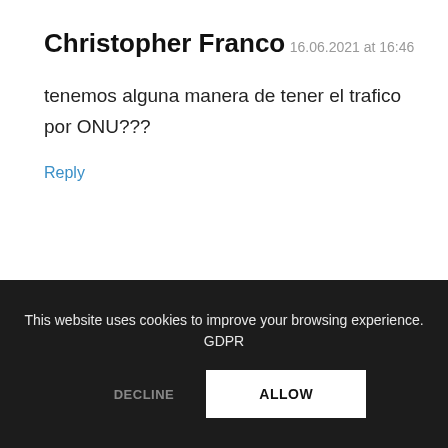Christopher Franco
16.06.2021 at 16:46
tenemos alguna manera de tener el trafico por ONU???
Reply
This website uses cookies to improve your browsing experience. GDPR
DECLINE
ALLOW